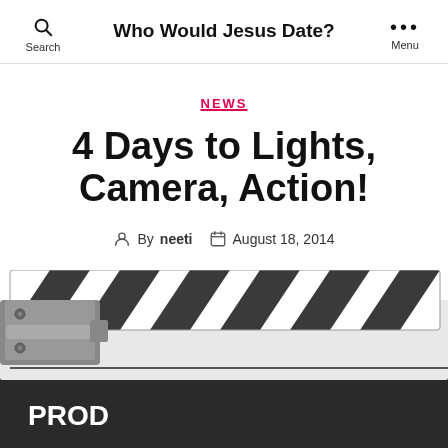Who Would Jesus Date?
NEWS
4 Days to Lights, Camera, Action!
By neeti  August 18, 2014
[Figure (photo): A clapperboard / film slate with black and white diagonal stripes on the top flap and the word PROD on the dark lower body panel.]